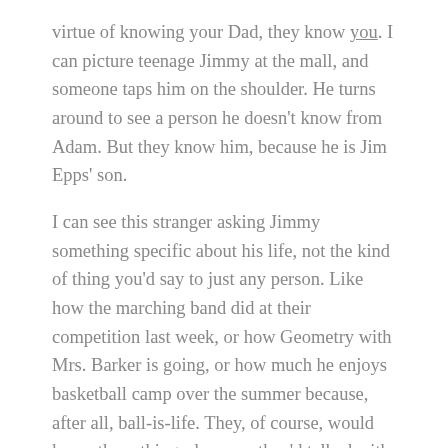virtue of knowing your Dad, they know you. I can picture teenage Jimmy at the mall, and someone taps him on the shoulder. He turns around to see a person he doesn't know from Adam. But they know him, because he is Jim Epps' son.
I can see this stranger asking Jimmy something specific about his life, not the kind of thing you'd say to just any person. Like how the marching band did at their competition last week, or how Geometry with Mrs. Barker is going, or how much he enjoys basketball camp over the summer because, after all, ball-is-life. They, of course, would know these things, because they'd talked with the famous Jim Epps, and Jim just loves telling people all about his son. I can see Jimmy politely responding, nodding his head and smiling, then turning to say goodbye and rolling his eyes because this stuff happens all the time.
Maybe you know what that's like. Maybe you're